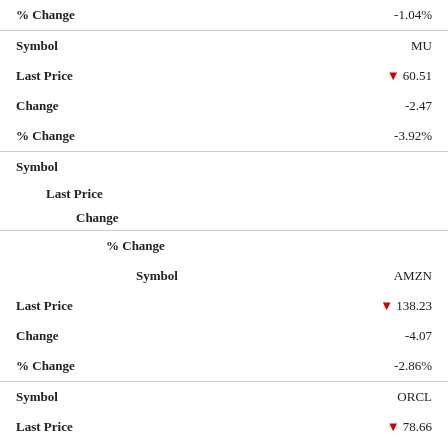| Field | Value |
| --- | --- |
| % Change | -1.04% |
| Symbol | MU |
| Last Price | ▼ 60.51 |
| Change | -2.47 |
| % Change | -3.92% |
| Symbol |  |
| Last Price |  |
| Change |  |
| % Change |  |
| Symbol | AMZN |
| Last Price | ▼ 138.23 |
| Change | -4.07 |
| % Change | -2.86% |
| Symbol | ORCL |
| Last Price | ▼ 78.66 |
| Change | -0.66 |